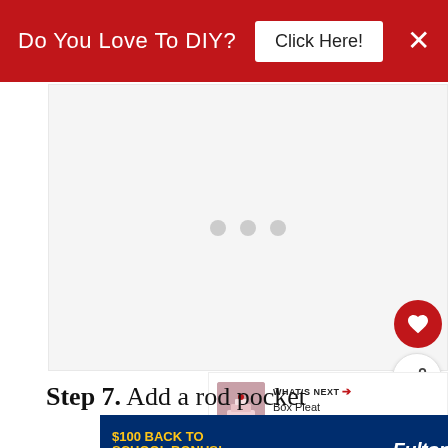Do You Love To DIY? Click Here!
[Figure (photo): Loading placeholder with three grey dots on white/light grey background, representing an image loading state]
WHAT'S NEXT → Box Pleat Scrap Fabric...
Step 7. Add a rod pocket
[Figure (infographic): Fulton Bank advertisement: $100 Back To School Bonus when you open an Xpress Account. Learn More button shown.]